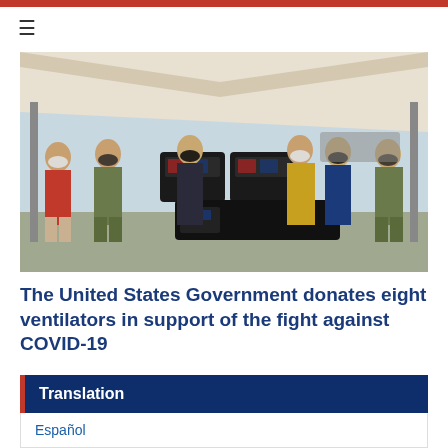[Figure (photo): Group of people wearing masks standing in front of cases of ventilators under a tent. Military personnel in camouflage uniforms flank officials in suits and a man in a red shirt. Cases bear US and Dominican Republic flag labels.]
The United States Government donates eight ventilators in support of the fight against COVID-19
Translation
Español